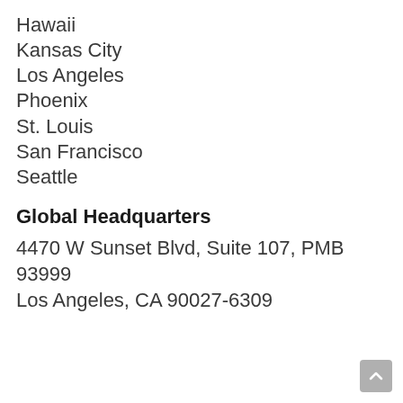Hawaii
Kansas City
Los Angeles
Phoenix
St. Louis
San Francisco
Seattle
Global Headquarters
4470 W Sunset Blvd, Suite 107, PMB 93999
Los Angeles, CA 90027-6309